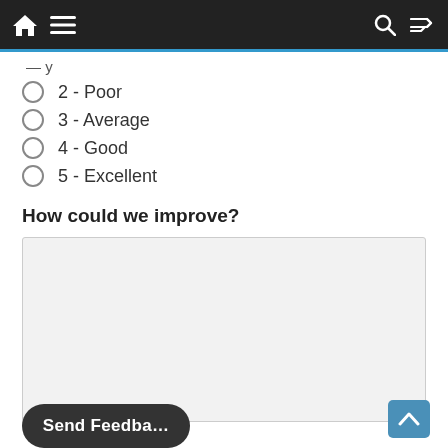Navigation bar with home, menu, search, and shuffle icons
2 - Poor
3 - Average
4 - Good
5 - Excellent
How could we improve?
[text area input box]
Send Feedback (button, partial)